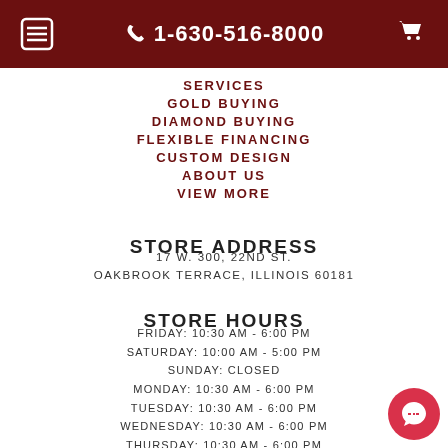☰  1-630-516-8000  🛒
SERVICES
GOLD BUYING
DIAMOND BUYING
FLEXIBLE FINANCING
CUSTOM DESIGN
ABOUT US
VIEW MORE
STORE ADDRESS
17 W. 300, 22ND ST.
OAKBROOK TERRACE, ILLINOIS 60181
STORE HOURS
FRIDAY: 10:30 AM - 6:00 PM
SATURDAY: 10:00 AM - 5:00 PM
SUNDAY: CLOSED
MONDAY: 10:30 AM - 6:00 PM
TUESDAY: 10:30 AM - 6:00 PM
WEDNESDAY: 10:30 AM - 6:00 PM
THURSDAY: 10:30 AM - 6:00 PM